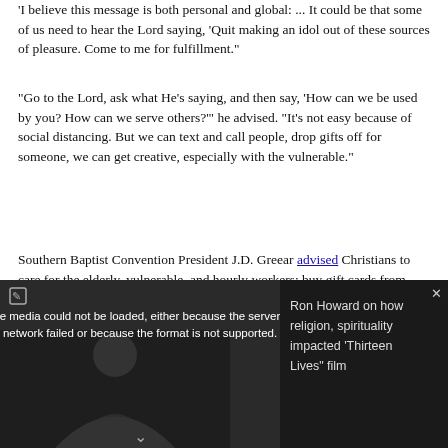'I believe this message is both personal and global: ... It could be that some of us need to hear the Lord saying, ‘Quit making an idol out of these sources of pleasure. Come to me for fulfillment.”
“Go to the Lord, ask what He’s saying, and then say, ‘How can we be used by you? How can we serve others?’” he advised. “It’s not easy because of social distancing. But we can text and call people, drop gifts off for someone, we can get creative, especially with the vulnerable.”
Southern Baptist Convention President J.D. Greear advised Christians to care for the elderly, vulnerable, and hourly workers; buy gift cards from service places; support healthcare workers; and participate in church ministries during this time.
“Proclaim hope,” he stressed. “This is a time where God is shaking the foundations and we have a unique moment to step in and show Gospel hope, that when everything else around us turns into shifting sands, we are able to say, ‘Christ is the solid rock and all
[Figure (screenshot): Media player overlay showing error message 'The media could not be loaded, either because the server or network failed or because the format is not supported.' with a thumbnail of a person in dark robes and a sidebar showing text about Ron Howard on how religion, spirituality impacted 'Thirteen Lives' film]